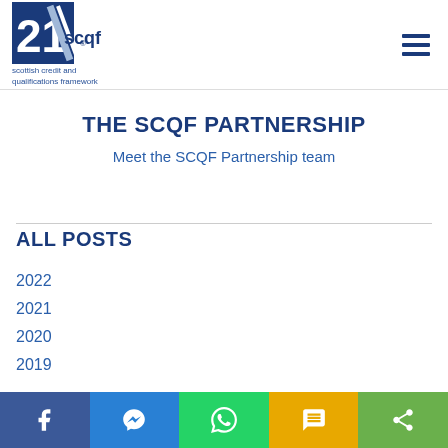[Figure (logo): SCQF Partnership logo with '21' mark and 'scottish credit and qualifications framework' tagline]
THE SCQF PARTNERSHIP
Meet the SCQF Partnership team
ALL POSTS
2022
2021
2020
2019